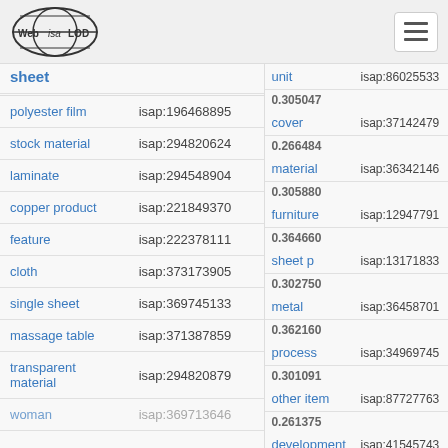Web isa LOD [logo] [hamburger menu]
| term | isap code |
| --- | --- |
| sheet |  |
| polyester film | isap:196468895 |
| stock material | isap:294820624 |
| laminate | isap:294548904 |
| copper product | isap:221849370 |
| feature | isap:222378111 |
| cloth | isap:373173905 |
| single sheet | isap:369745133 |
| massage table | isap:371387859 |
| transparent material | isap:294820879 |
| woman | isap:369713646 |
| term | isap code |
| --- | --- |
| unit | isap:86025533 |
| 0.305047 |  |
| cover | isap:37142479 |
| 0.266484 |  |
| material | isap:36342146 |
| 0.305880 |  |
| furniture | isap:12947791 |
| 0.364660 |  |
| sheet p | isap:13171833 |
| 0.302750 |  |
| metal | isap:36458701 |
| 0.362160 |  |
| process | isap:34969745 |
| 0.301091 |  |
| other item | isap:87727763 |
| 0.261375 |  |
| development | isap:41545743 |
| 0.300750 |  |
| sheet 1 | isap:36974528 |
| detail | isap:12023411 |